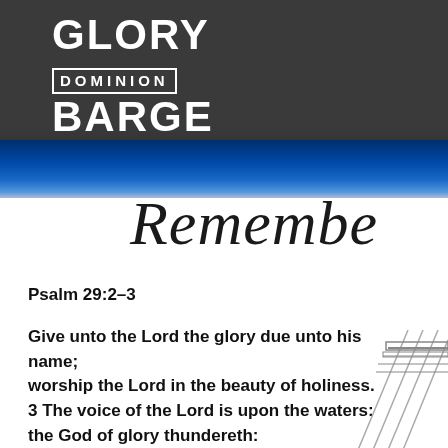GLORY
DOMINION
BARGE
Remembe
Psalm 29:2-3
Give unto the Lord the glory due unto his name; worship the Lord in the beauty of holiness. 3 The voice of the Lord is upon the waters: the God of glory thundereth: the Lord is upon many waters